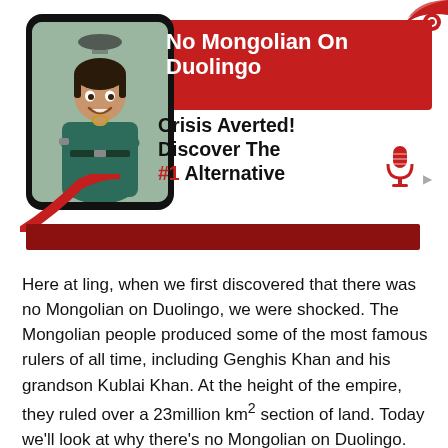[Figure (illustration): Tablet device showing a smiling woman in a teal dress with arms crossed, in an office/cafe setting. Red decorative curve at bottom-left of tablet. Duolingo owl-style logo icon at top-right corner.]
No Mongolian On Duolingo
Crisis Averted! Discover The #1 Alternative
Here at ling, when we first discovered that there was no Mongolian on Duolingo, we were shocked. The Mongolian people produced some of the most famous rulers of all time, including Genghis Khan and his grandson Kublai Khan. At the height of the empire, they ruled over a 23million km² section of land. Today we'll look at why there's no Mongolian on Duolingo.